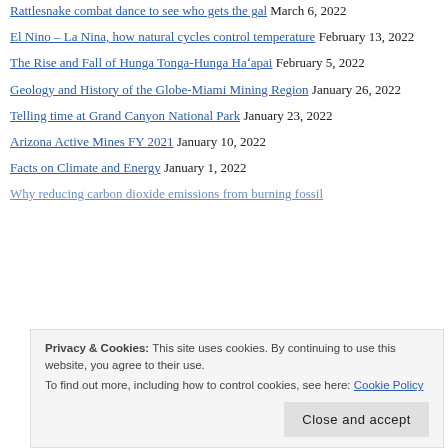Rattlesnake combat dance to see who gets the gal March 6, 2022
El Nino – La Nina, how natural cycles control temperature February 13, 2022
The Rise and Fall of Hunga Tonga-Hunga Haʻapai February 5, 2022
Geology and History of the Globe-Miami Mining Region January 26, 2022
Telling time at Grand Canyon National Park January 23, 2022
Arizona Active Mines FY 2021 January 10, 2022
Facts on Climate and Energy January 1, 2022
Why reducing carbon dioxide emissions from burning fossil (partial)
Privacy & Cookies: This site uses cookies. By continuing to use this website, you agree to their use. To find out more, including how to control cookies, see here: Cookie Policy
Close and accept